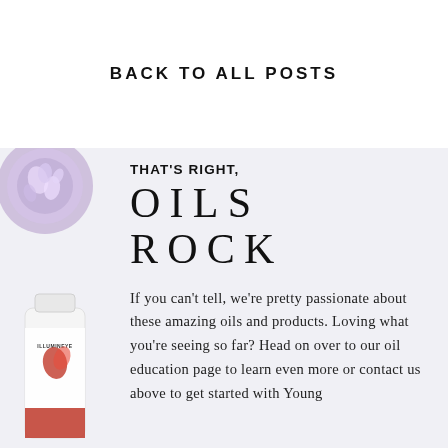BACK TO ALL POSTS
THAT'S RIGHT, OILS ROCK
[Figure (photo): Left side decorative photo collage: purple crystal geode at top left and a white supplement/essential oil bottle labeled ILLUMINEYE at bottom left, on a light lavender-gray background.]
If you can't tell, we're pretty passionate about these amazing oils and products. Loving what you're seeing so far? Head on over to our oil education page to learn even more or contact us above to get started with Young